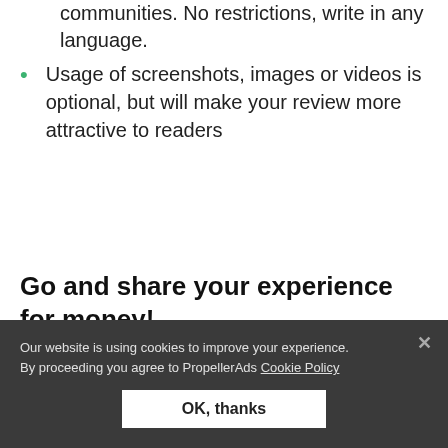communities. No restrictions, write in any language.
Usage of screenshots, images or videos is optional, but will make your review more attractive to readers
Go and share your experience for money!
" [partially visible quoted text]
Our website is using cookies to improve your experience. By proceeding you agree to PropellerAds Cookie Policy
OK, thanks